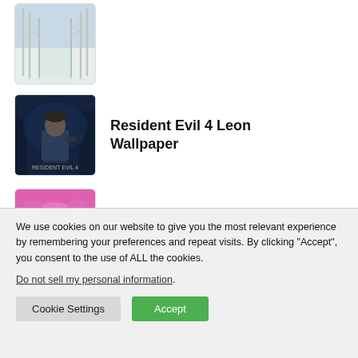[Figure (photo): Winter snowy tree-lined path thumbnail]
[Figure (photo): Resident Evil 4 Leon game wallpaper thumbnail]
Resident Evil 4 Leon Wallpaper
[Figure (photo): Funny pink monster face wallpaper thumbnail]
Funny Face Wallpapers
We use cookies on our website to give you the most relevant experience by remembering your preferences and repeat visits. By clicking “Accept”, you consent to the use of ALL the cookies.
Do not sell my personal information.